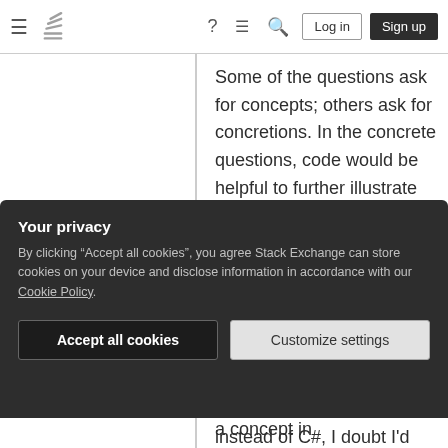Stack Exchange navigation bar with hamburger menu, logo, help, chat, search icons, Log in and Sign up buttons
Some of the questions ask for concepts; others ask for concretions. In the concrete questions, code would be helpful to further illustrate difficulties, but the concepts are a lot trickier since they're subjectively okay based on how familiar one is with the subject matter. For instance, if this particular question were asked with a Java context instead of C#, I doubt I'd have an issue with it...but that's really up to the people monitoring/watching the C# tag to
Your privacy
By clicking "Accept all cookies", you agree Stack Exchange can store cookies on your device and disclose information in accordance with our Cookie Policy.
Accept all cookies
Customize settings
code you had written, but as a concept in